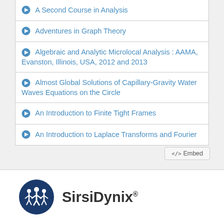A Second Course in Analysis
Adventures in Graph Theory
Algebraic and Analytic Microlocal Analysis : AAMA, Evanston, Illinois, USA, 2012 and 2013
Almost Global Solutions of Capillary-Gravity Water Waves Equations on the Circle
An Introduction to Finite Tight Frames
An Introduction to Laplace Transforms and Fourier
</> Embed
[Figure (logo): SirsiDynix logo: dark blue circle with white figures/people icon, followed by the text SirsiDynix with registered trademark symbol]